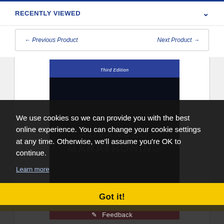RECENTLY VIEWED
← Previous Product    Next Product →
[Figure (photo): Book cover showing 'Third Edition' at top with dark navy background and text 'ADVANCED MARATHONING' partially visible, red strip at bottom]
We use cookies so we can provide you with the best online experience. You can change your cookie settings at any time. Otherwise, we'll assume you're OK to continue.
Learn more
Got it!
Feedback